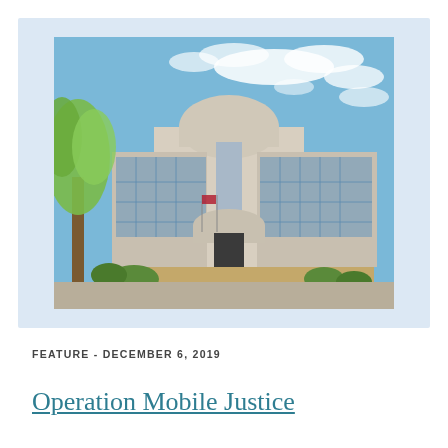[Figure (photo): Exterior photograph of a modern government or courthouse building with a curved dome architectural feature, glass windows, trees in the foreground (left side with green leaves), and a blue sky with light clouds in the background.]
FEATURE - DECEMBER 6, 2019
Operation Mobile Justice